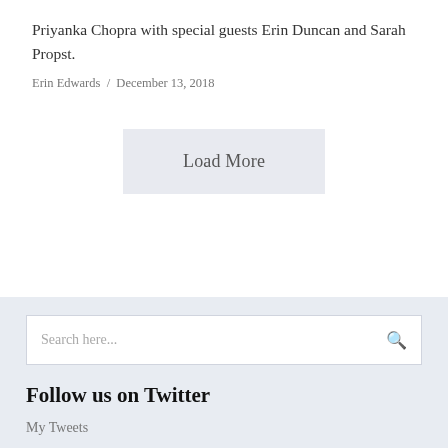Priyanka Chopra with special guests Erin Duncan and Sarah Propst.
Erin Edwards / December 13, 2018
Load More
Search here...
Follow us on Twitter
My Tweets